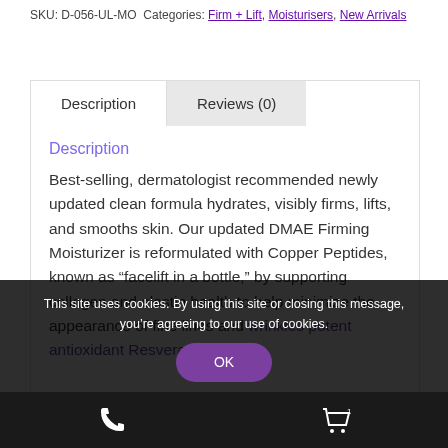SKU: D-056-UL-MO Categories: Firm + Lift, Moisturisers, New Arrivals
Description
Best-selling, dermatologist recommended newly updated clean formula hydrates, visibly firms, lifts, and smooths skin. Our updated DMAE Firming Moisturizer is reformulated with Copper Peptides, known as “facelift in a bottle,” by supporting collagen and elastin health to help minimize the appearance of fine lines and wrinkles potent antioxidant Resveratrol,
This site uses cookies. By using this site or closing this message, you’re agreeing to our use of cookies.